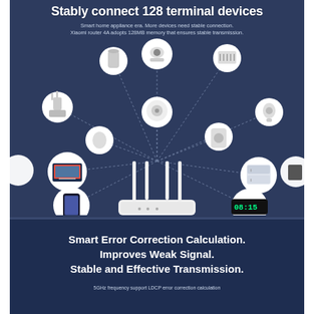Stably connect 128 terminal devices
Smart home appliance era. More devices need stable connection. Xiaomi router 4A adopts 128MB memory that ensures stable transmission.
[Figure (illustration): Infographic showing a Xiaomi Router 4A at center connected to 11 smart home devices arranged in a circle: smart speaker, security camera, electric heater, robot vacuum, air purifier, TV, smartphone, smart clock, refrigerator, Xiaomi extender, and a white egg-shaped device. Devices connected via dotted lines on a dark blue background.]
Smart Error Correction Calculation. Improves Weak Signal. Stable and Effective Transmission.
5GHz frequency support LDCP error correction calculation